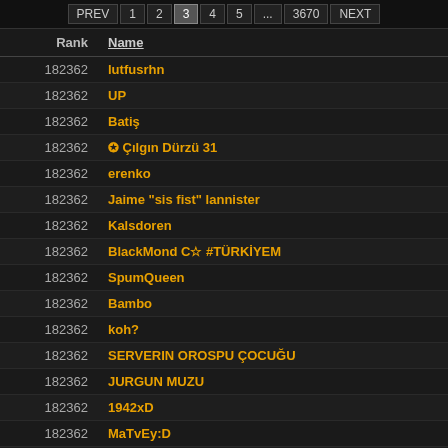PREV 1 2 3 4 5 ... 3670 NEXT
| Rank | Name |
| --- | --- |
| 182362 | lutfusrhn |
| 182362 | UP |
| 182362 | Batiş |
| 182362 | ✪ Çılgın Dürzü 31 |
| 182362 | erenko |
| 182362 | Jaime "sis fist" lannister |
| 182362 | Kalsdoren |
| 182362 | BlackMond C☆ #TÜRKİYEM |
| 182362 | SpumQueen |
| 182362 | Bambo |
| 182362 | koh? |
| 182362 | SERVERIN OROSPU ÇOCUĞU |
| 182362 | JURGUN MUZU |
| 182362 | 1942xD |
| 182362 | MaTvEy:D |
| 182362 | Gökhan Çekem |
| 182362 | Vikkezzzz |
| 182362 | KRALIN CANIDA ALLAHA EMANET |